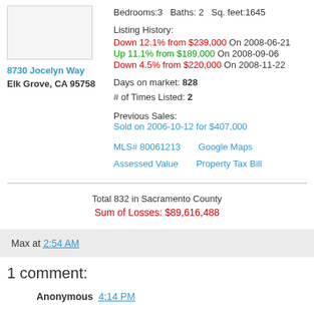[Figure (photo): Property photo placeholder (blank/white box)]
8730 Jocelyn Way
Elk Grove, CA 95758
Bedrooms:3   Baths: 2   Sq. feet:1645
Listing History:
Down 12.1% from $239,000 On 2008-06-21
Up 11.1% from $189,000 On 2008-09-06
Down 4.5% from $220,000 On 2008-11-22
Days on market: 828
# of Times Listed: 2
Previous Sales:
Sold on 2006-10-12 for $407,000
MLS# 80061213   Google Maps
Assessed Value   Property Tax Bill
Total 832 in Sacramento County
Sum of Losses: $89,616,488
Max at 2:54 AM
1 comment:
Anonymous 4:14 PM